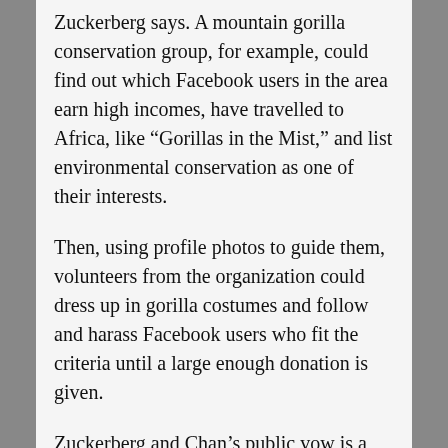Zuckerberg says. A mountain gorilla conservation group, for example, could find out which Facebook users in the area earn high incomes, have travelled to Africa, like “Gorillas in the Mist,” and list environmental conservation as one of their interests.
Then, using profile photos to guide them, volunteers from the organization could dress up in gorilla costumes and follow and harass Facebook users who fit the criteria until a large enough donation is given.
Zuckerberg and Chan’s public vow is a clear sign of the ever-growing Silicon Valley trend of data philanthropy. In 2014, Google co-founders Sergey Brin and Larry Page donated 60 terabytes of search history data to a school for former child soldiers in